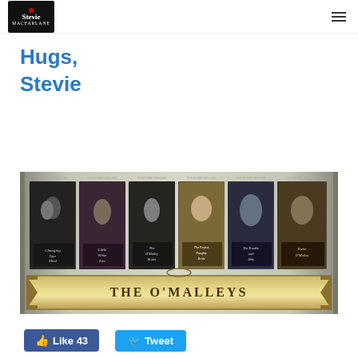Stevie MacFarlane logo and navigation
Hugs,
Stevie
[Figure (illustration): The O'Malleys book series banner showing 6 romance novel covers by Stevie MacFarlane: Changing Your Mind, Little White Lies, The O'Malley Brides, The Perfect Naughty Bride, The Trouble with Abby, and Katie O'Malley. Gold decorative border with 'THE O'MALLEYS' text at bottom.]
Like 43   Tweet